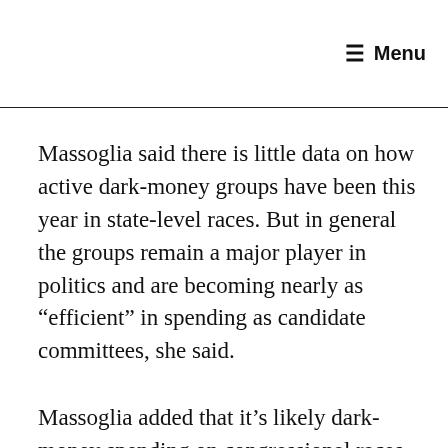≡ Menu
Massoglia said there is little data on how active dark-money groups have been this year in state-level races. But in general the groups remain a major player in politics and are becoming nearly as “efficient” in spending as candidate committees, she said.
Massoglia added that it’s likely dark-money spending on congressional races and state-level politics will accelerate in the coming weeks.